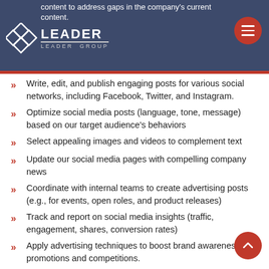Leader Group
content to address gaps in the company's current content. Write, edit, and publish engaging posts for various social networks, including Facebook, Twitter, and Instagram.
Optimize social media posts (language, tone, message) based on our target audience's behaviors
Select appealing images and videos to complement text
Update our social media pages with compelling company news
Coordinate with internal teams to create advertising posts (e.g., for events, open roles, and product releases)
Track and report on social media insights (traffic, engagement, shares, conversion rates)
Apply advertising techniques to boost brand awareness, like promotions and competitions.
Experience and Education:
+5 years' experience in technical content writer .